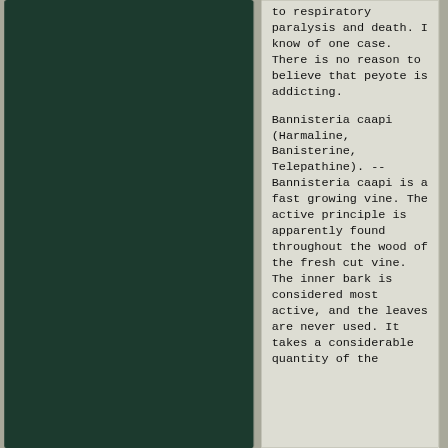[Figure (photo): Dark green rectangular panel occupying the left portion of the page, likely an image or illustration area with a very dark forest green background.]
to respiratory paralysis and death. I know of one case. There is no reason to believe that peyote is addicting.

Bannisteria caapi (Harmaline, Banisterine, Telepathine). -- Bannisteria caapi is a fast growing vine. The active principle is apparently found throughout the wood of the fresh cut vine. The inner bark is considered most active, and the leaves are never used. It takes a considerable quantity of the